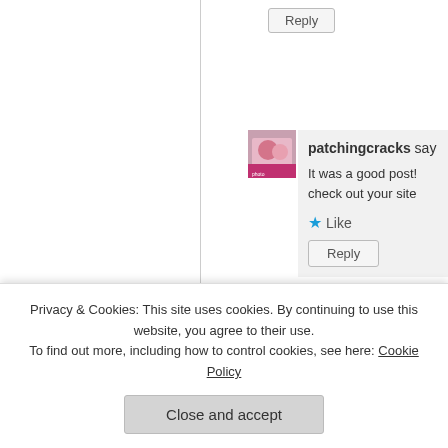Reply
patchingcracks says
It was a good post! check out your site
Like
Reply
[Figure (photo): User avatar photo showing two children]
lifehelps says
[Figure (logo): Green decorative icon/logo for lifehelps]
Thank you. I j
Privacy & Cookies: This site uses cookies. By continuing to use this website, you agree to their use.
To find out more, including how to control cookies, see here: Cookie Policy
Close and accept